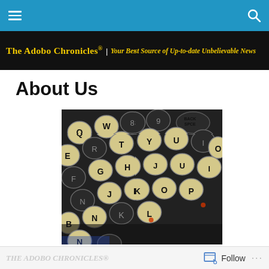Navigation bar with hamburger menu and search icon
The Adobo Chronicles® | Your Best Source of Up-to-date Unbelievable News
About Us
[Figure (photo): Close-up photograph of vintage typewriter keys showing letters including R, E, T, Y, U, I, O, G, H, J, K, L, B, N, M and number keys on circular metallic key caps with dark background]
Follow ...